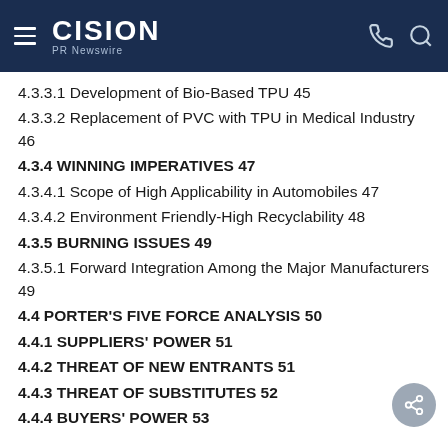CISION PR Newswire
4.3.3.1 Development of Bio-Based TPU 45
4.3.3.2 Replacement of PVC with TPU in Medical Industry 46
4.3.4 WINNING IMPERATIVES 47
4.3.4.1 Scope of High Applicability in Automobiles 47
4.3.4.2 Environment Friendly-High Recyclability 48
4.3.5 BURNING ISSUES 49
4.3.5.1 Forward Integration Among the Major Manufacturers 49
4.4 PORTER'S FIVE FORCE ANALYSIS 50
4.4.1 SUPPLIERS' POWER 51
4.4.2 THREAT OF NEW ENTRANTS 51
4.4.3 THREAT OF SUBSTITUTES 52
4.4.4 BUYERS' POWER 53